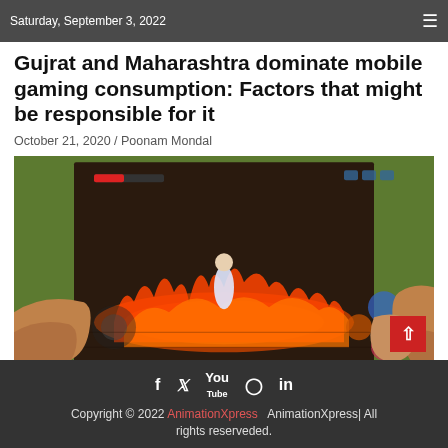Saturday, September 3, 2022
Gujrat and Maharashtra dominate mobile gaming consumption: Factors that might be responsible for it
October 21, 2020 / Poonam Mondal
[Figure (photo): Hands holding a smartphone displaying a mobile action game with fantasy/battle scene graphics]
Copyright © 2022 AnimationXpress  AnimationXpress| All rights reserved.